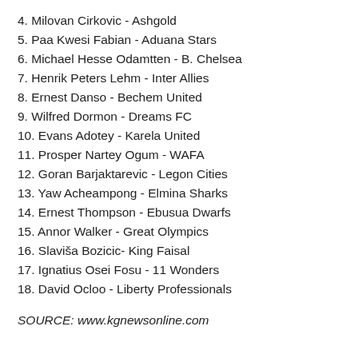4. Milovan Cirkovic - Ashgold
5. Paa Kwesi Fabian - Aduana Stars
6. Michael Hesse Odamtten - B. Chelsea
7. Henrik Peters Lehm - Inter Allies
8. Ernest Danso - Bechem United
9. Wilfred Dormon - Dreams FC
10. Evans Adotey - Karela United
11. Prosper Nartey Ogum - WAFA
12. Goran Barjaktarevic - Legon Cities
13. Yaw Acheampong - Elmina Sharks
14. Ernest Thompson - Ebusua Dwarfs
15. Annor Walker - Great Olympics
16. Slaviša Bozicic- King Faisal
17. Ignatius Osei Fosu - 11 Wonders
18. David Ocloo - Liberty Professionals
SOURCE: www.kgnewsonline.com